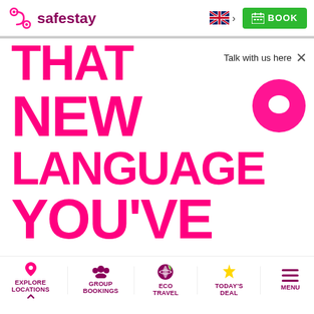safestay — BOOK
THAT NEW LANGUAGE YOU'VE BEEN PUTTING
Talk with us here
EXPLORE LOCATIONS | GROUP BOOKINGS | ECO TRAVEL | TODAY'S DEAL | MENU